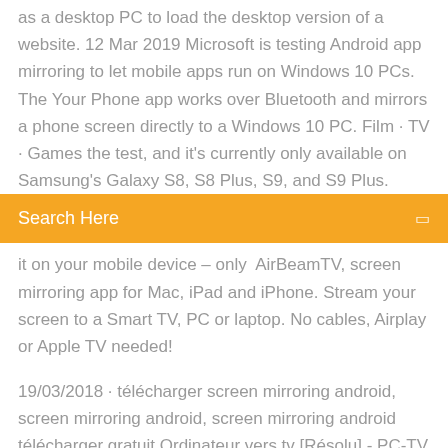as a desktop PC to load the desktop version of a website. 12 Mar 2019 Microsoft is testing Android app mirroring to let mobile apps run on Windows 10 PCs. The Your Phone app works over Bluetooth and mirrors a phone screen directly to a Windows 10 PC. Film · TV · Games the test, and it's currently only available on Samsung's Galaxy S8, S8 Plus, S9, and S9 Plus.
[Figure (other): Orange search bar with text 'Search Here' and a search icon on the right]
it on your mobile device – only  AirBeamTV, screen mirroring app for Mac, iPad and iPhone. Stream your screen to a Smart TV, PC or laptop. No cables, Airplay or Apple TV needed!
19/03/2018 · télécharger screen mirroring android, screen mirroring android, screen mirroring android télécharger gratuit Ordinateur vers tv [Résolu] - PC-TV - Comment Ça Marche Hdmi pc vers tv pas de son - Forum - Matériel informatique Screen mirroring pc vers tv samsung - Forum - PC-TV 1 réponse Connexion smart tv et smartphone - Forums CNET France